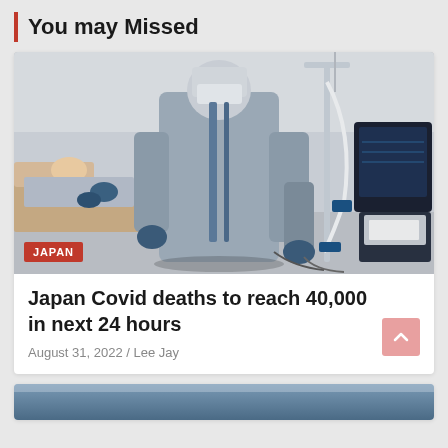You may Missed
[Figure (photo): Hospital scene with a healthcare worker in PPE (gown and mask) attending to a patient in a hospital bed, with medical equipment including a ventilator visible in the background.]
Japan Covid deaths to reach 40,000 in next 24 hours
August 31, 2022 / Lee Jay